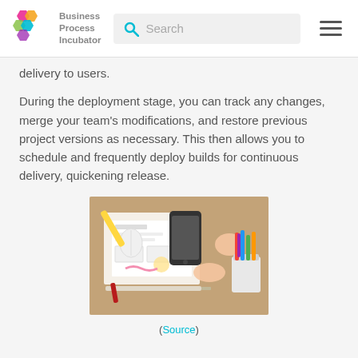Business Process Incubator
delivery to users.
During the deployment stage, you can track any changes, merge your team's modifications, and restore previous project versions as necessary. This then allows you to schedule and frequently deploy builds for continuous delivery, quickening release.
[Figure (photo): Person's hands working at a desk with papers showing UI wireframes/sketches, a smartphone, a computer mouse, a pencil, a yellow highlighter, and a cup of colorful markers/pens on a wooden table surface.]
(Source)